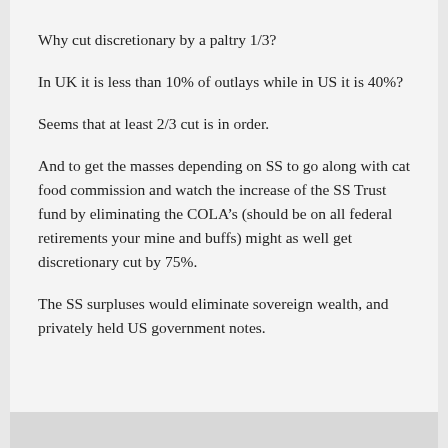Why cut discretionary by a paltry 1/3?
In UK it is less than 10% of outlays while in US it is 40%?
Seems that at least 2/3 cut is in order.
And to get the masses depending on SS to go along with cat food commission and watch the increase of the SS Trust fund by eliminating the COLA’s (should be on all federal retirements your mine and buffs) might as well get discretionary cut by 75%.
The SS surpluses would eliminate sovereign wealth, and privately held US government notes.